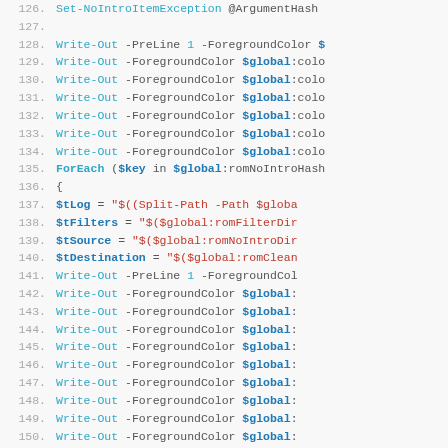[Figure (screenshot): PowerShell script code listing showing lines 126-153 with syntax highlighting. Blue keywords like Write-Out, ForEach, If; bold blue variables like $global, $tLog, $tFilters, $tSource, $tDestination, $key; red string literals; gray line numbers.]